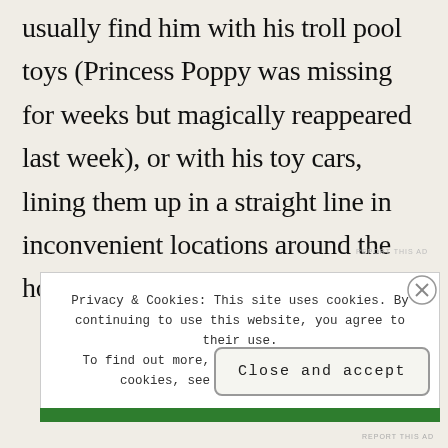usually find him with his troll pool toys (Princess Poppy was missing for weeks but magically reappeared last week), or with his toy cars, lining them up in a straight line in inconvenient locations around the house.
REPORT THIS AD
Privacy & Cookies: This site uses cookies. By continuing to use this website, you agree to their use. To find out more, including how to control cookies, see here: Cookie Policy
Close and accept
REPORT THIS AD